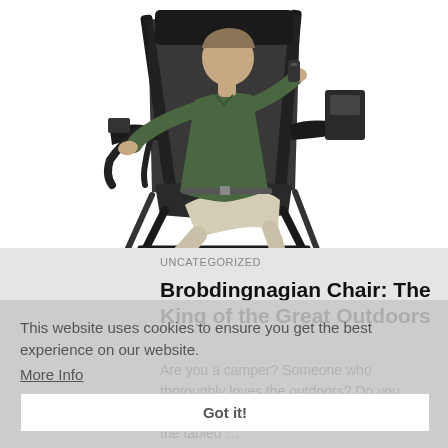[Figure (photo): Man sitting in a large black camping/outdoor folding chair with footrest, wearing a green polo shirt and light khaki pants. White background product photo.]
UNCATEGORIZED
Brobdingnagian Chair: The King of the Great Outdoors
Are you a camper? Someone who thoroughly loves the outdoors? Do you often plan barbecues, go camping, roast the fabled …
This website uses cookies to ensure you get the best experience on our website.
More Info
Got it!